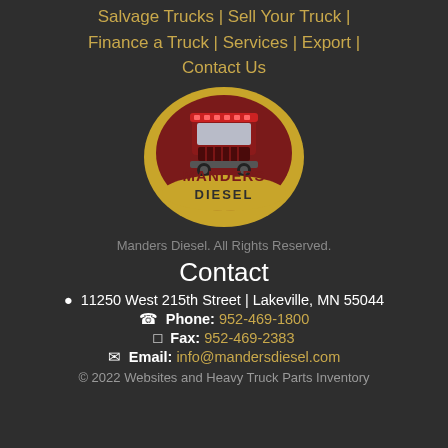Salvage Trucks | Sell Your Truck | Finance a Truck | Services | Export | Contact Us
[Figure (logo): Manders Diesel logo: circular gold and dark red badge with a semi-truck illustration and the text MANDERS DIESEL]
Manders Diesel. All Rights Reserved.
Contact
📍 11250 West 215th Street | Lakeville, MN 55044
📞 Phone: 952-469-1800
📱 Fax: 952-469-2383
✉ Email: info@mandersdiesel.com
© 2022 Websites and Heavy Truck Parts Inventory